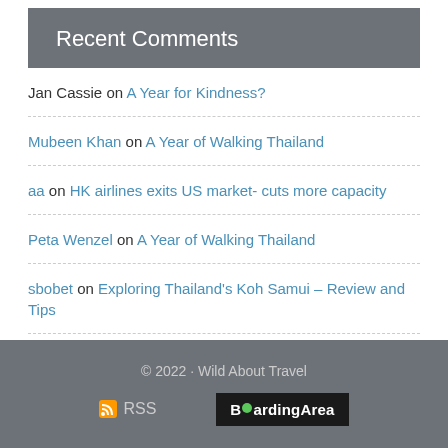Recent Comments
Jan Cassie on A Year for Kindness?
Mubeen Khan on A Year of Walking Thailand
aa on HK airlines exits US market- cuts more capacity
Peta Wenzel on A Year of Walking Thailand
sbobet on Exploring Thailand's Koh Samui – Review and Tips
© 2022 · Wild About Travel  RSS  BoardingArea